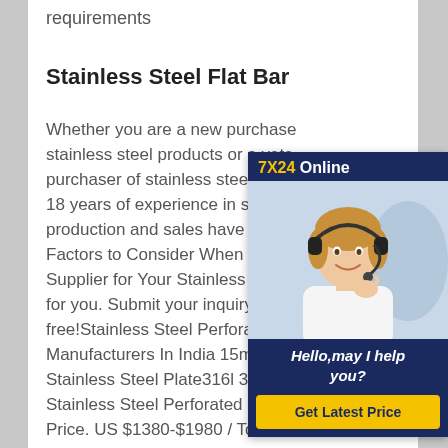requirements
Stainless Steel Flat Bar
Whether you are a new purchaser of stainless steel products or a veteran purchaser of stainless steel products, 18 years of experience in stainless production and sales have summarized Factors to Consider When Choosing a Supplier for Your Stainless Steel for you. Submit your inquiry and get free!Stainless Steel Perforated Sheet Manufacturers In India 15mm Thick 2507 Stainless Steel Plate316l 3 MM 4×8 Stainless Steel Perforated Plates Sheets Price. US $1380-$1980 / Tons. 2mm Thick 304 Round Perforated Metal Hot Rolled No.1 Surface 316 High Quality Stainless Steel Plate USS 2.0 USS 3.0 L
[Figure (other): Customer service chat widget with a photo of a smiling woman wearing a headset, '7X24 Online' header, 'Hello, may I help you?' message, and 'Get Latest Price' button]